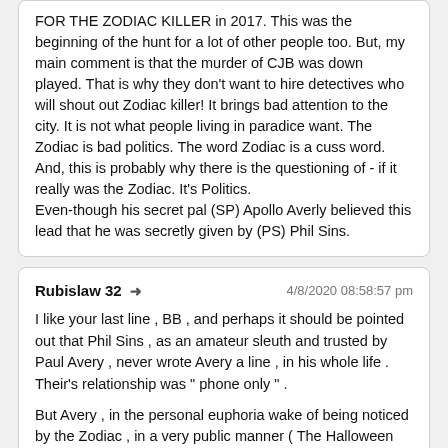FOR THE ZODIAC KILLER in 2017. This was the beginning of the hunt for a lot of other people too. But, my main comment is that the murder of CJB was down played. That is why they don't want to hire detectives who will shout out Zodiac killer! It brings bad attention to the city. It is not what people living in paradice want. The Zodiac is bad politics. The word Zodiac is a cuss word. And, this is probably why there is the questioning of - if it really was the Zodiac. It's Politics.
Even-though his secret pal (SP) Apollo Averly believed this lead that he was secretly given by (PS) Phil Sins.
Rubislaw 32 → 4/8/2020 08:58:57 pm

I like your last line , BB , and perhaps it should be pointed out that Phil Sins , as an amateur sleuth and trusted by Paul Avery , never wrote Avery a line , in his whole life . Their's relationship was " phone only " .

But Avery , in the personal euphoria wake of being noticed by the Zodiac , in a very public manner ( The Halloween Card ) , got taken for a sucker over the " Slow Boat to China " letter , concocted by Riverside Captain Cross and Vallejo's